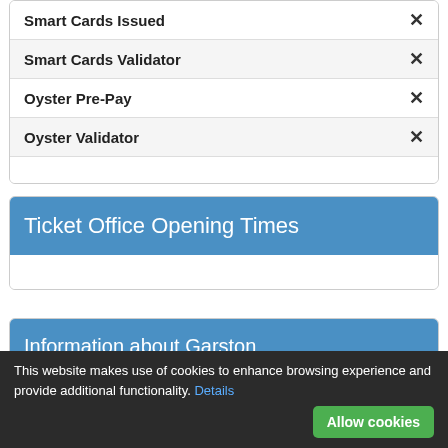Smart Cards Issued ✕
Smart Cards Validator ✕
Oyster Pre-Pay ✕
Oyster Validator ✕
Ticket Office Opening Times
Information about Garston (Hertfordshire) Station
This website makes use of cookies to enhance browsing experience and provide additional functionality. Details
Allow cookies